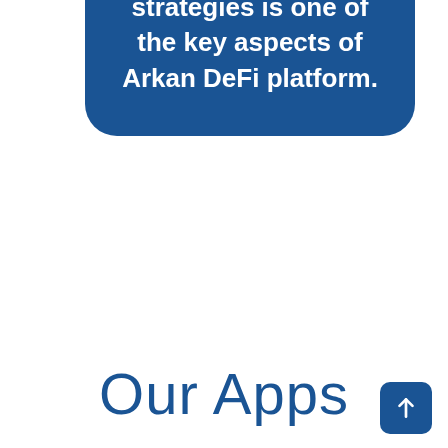efficient AI algorithms able to trade in the market, and invest the wallet in different strategies is one of the key aspects of Arkan DeFi platform.
Our Apps